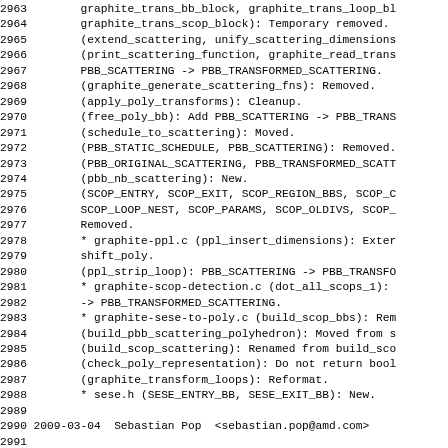2963	graphite_trans_bb_block, graphite_trans_loop_bl
2964	graphite_trans_scop_block): Temporary removed.
2965	(extend_scattering, unify_scattering_dimensions
2966	(print_scattering_function, graphite_read_trans
2967	PBB_SCATTERING -> PBB_TRANSFORMED_SCATTERING.
2968	(graphite_generate_scattering_fns): Removed.
2969	(apply_poly_transforms): Cleanup.
2970	(free_poly_bb): Add PBB_SCATTERING -> PBB_TRANS
2971	(schedule_to_scattering): Moved.
2972	(PBB_STATIC_SCHEDULE, PBB_SCATTERING): Removed.
2973	(PBB_ORIGINAL_SCATTERING, PBB_TRANSFORMED_SCATT
2974	(pbb_nb_scattering): New.
2975	(SCOP_ENTRY, SCOP_EXIT, SCOP_REGION_BBS, SCOP_C
2976	SCOP_LOOP_NEST, SCOP_PARAMS, SCOP_OLDIVS, SCOP_
2977	Removed.
2978	* graphite-ppl.c (ppl_insert_dimensions): Exter
2979	shift_poly.
2980	(ppl_strip_loop): PBB_SCATTERING -> PBB_TRANSFO
2981	* graphite-scop-detection.c (dot_all_scops_1):
2982	-> PBB_TRANSFORMED_SCATTERING.
2983	* graphite-sese-to-poly.c (build_scop_bbs): Rem
2984	(build_pbb_scattering_polyhedron): Moved from s
2985	(build_scop_scattering): Renamed from build_sco
2986	(check_poly_representation): Do not return bool
2987	(graphite_transform_loops): Reformat.
2988	* sese.h (SESE_ENTRY_BB, SESE_EXIT_BB): New.
2989
2990 2009-03-04  Sebastian Pop  <sebastian.pop@amd.com>
2991
2992	* graphite-poly.c (print_pbb_domain, print_pbb,
2993	debug_pbb_domain, debug_pbb, debug_scop): New.
2994	* graphite-poly.h (print_pbb_domain, print_pbb,